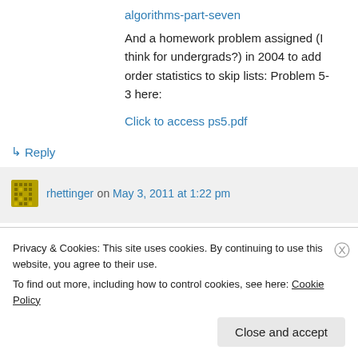algorithms-part-seven
And a homework problem assigned (I think for undergrads?) in 2004 to add order statistics to skip lists: Problem 5-3 here:
Click to access ps5.pdf
↳ Reply
rhettinger on May 3, 2011 at 1:22 pm
Privacy & Cookies: This site uses cookies. By continuing to use this website, you agree to their use.
To find out more, including how to control cookies, see here: Cookie Policy
Close and accept